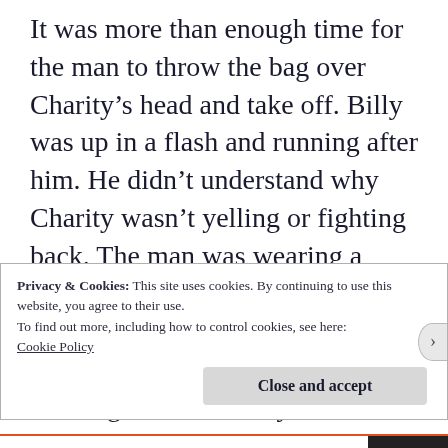It was more than enough time for the man to throw the bag over Charity's head and take off.  Billy was up in a flash and running after him.  He didn't understand why Charity wasn't yelling or fighting back.  The man was wearing a white t shirt and dirty blue work pants, fresh grease stains permanently adorned the cuffs of both legs.  He had curly blonde hair, of which certain amounts seemed to be permanently stuck to his face.   Billy tried to get a decent look but
Privacy & Cookies: This site uses cookies. By continuing to use this website, you agree to their use.
To find out more, including how to control cookies, see here:
Cookie Policy